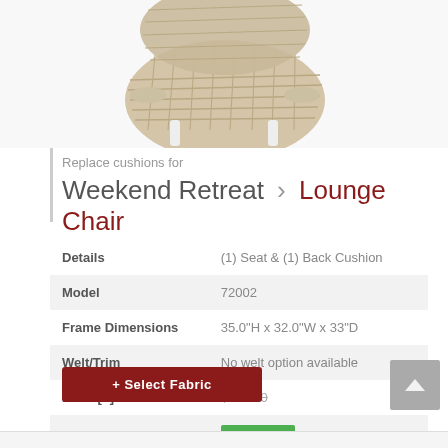[Figure (photo): Photo of a wicker/rattan lounge chair with white legs, partially cropped, showing the top portion of the chair against a white background.]
Replace cushions for
Weekend Retreat > Lounge Chair
|  |  |
| --- | --- |
| Details | (1) Seat & (1) Back Cushion |
| Model | 72002 |
| Frame Dimensions | 35.0"H x 32.0"W x 33"D |
| Welt/Trim | No welt option available |
| Price [?] | $423.00 |
| Starting at [?] | $317.25 |
+ Select Fabric